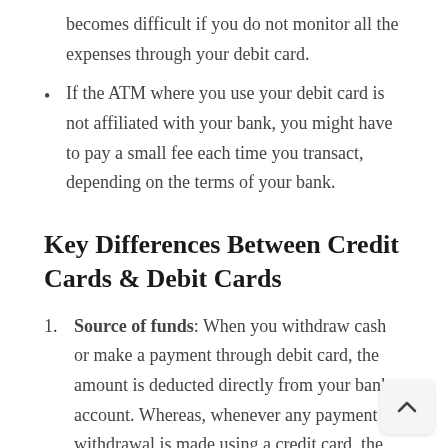becomes difficult if you do not monitor all the expenses through your debit card.
If the ATM where you use your debit card is not affiliated with your bank, you might have to pay a small fee each time you transact, depending on the terms of your bank.
Key Differences Between Credit Cards & Debit Cards
Source of funds: When you withdraw cash or make a payment through debit card, the amount is deducted directly from your bank account. Whereas, whenever any payment or withdrawal is made using a credit card, the amount is borrowed from your bank, which you